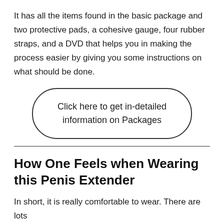It has all the items found in the basic package and two protective pads, a cohesive gauge, four rubber straps, and a DVD that helps you in making the process easier by giving you some instructions on what should be done.
[Figure (other): Pill-shaped button with text: Click here to get in-detailed information on Packages]
How One Feels when Wearing this Penis Extender
In short, it is really comfortable to wear. There are lots